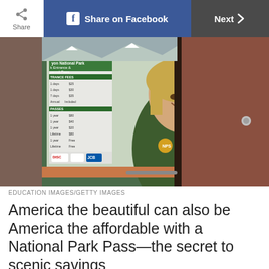Share | Share on Facebook | Next >
[Figure (photo): A National Park Service ranger smiling and handing out a Bryce Canyon National Park brochure/map through a ticket window. Behind her is a sign showing park entrance and permit fees. The setting is a park entrance booth with green-painted wood.]
EDUCATION IMAGES/GETTY IMAGES
America the beautiful can also be America the affordable with a National Park Pass—the secret to scenic savings